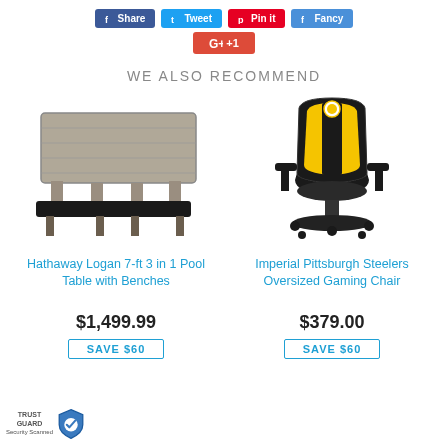[Figure (screenshot): Social sharing buttons: Share (Facebook), Tweet (Twitter), Pin it (Pinterest), Fancy, and Google +1]
WE ALSO RECOMMEND
[Figure (photo): Hathaway Logan 7-ft 3-in-1 Pool Table with Benches — a gray wood pool table with black bench seating]
Hathaway Logan 7-ft 3 in 1 Pool Table with Benches
$1,499.99
SAVE $60
[Figure (photo): Imperial Pittsburgh Steelers Oversized Gaming Chair — black and gold gaming chair with Steelers logo]
Imperial Pittsburgh Steelers Oversized Gaming Chair
$379.00
SAVE $60
[Figure (logo): Trust Guard Security Scanned badge with shield icon]